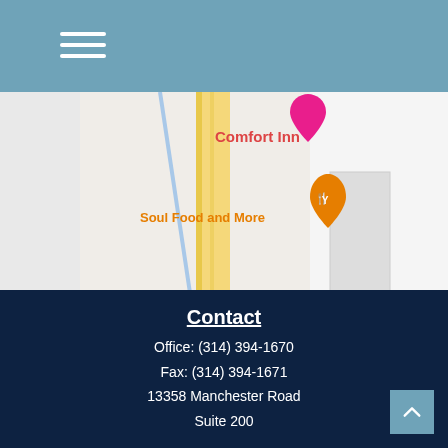Navigation menu (hamburger icon)
[Figure (map): Google Maps screenshot showing Comfort Inn, Soul Food and More restaurant marker, Marion street label, and a yellow road, partial view cropped]
Cornerstone Wealth Management and its DBAs are separate entities from LPL Financial.
Contact
Office: (314) 394-1670
Fax: (314) 394-1671
13358 Manchester Road
Suite 200